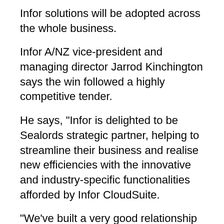Infor solutions will be adopted across the whole business.
Infor A/NZ vice-president and managing director Jarrod Kinchington says the win followed a highly competitive tender.
He says, "Infor is delighted to be Sealords strategic partner, helping to streamline their business and realise new efficiencies with the innovative and industry-specific functionalities afforded by Infor CloudSuite.
"We've built a very good relationship with the business despite pandemic disruptions. We look forward to helping Sealord meet its strategic goals, so that they can focus on their core business while our platform provides the data and seamless tracking they require."